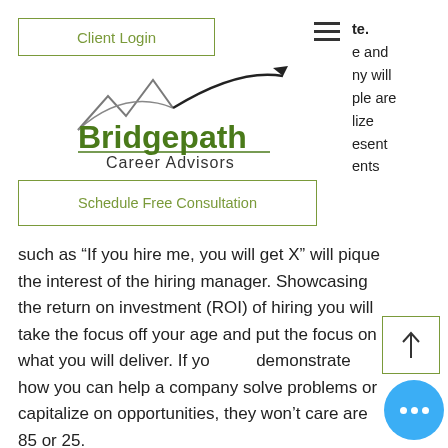[Figure (logo): Bridgepath Career Advisors logo with bridge/mountain graphic and upward arrow]
Client Login
te.
e and
ny will
ole are
lize
esent
ents
Schedule Free Consultation
such as “If you hire me, you will get X” will pique the interest of the hiring manager. Showcasing the return on investment (ROI) of hiring you will take the focus off your age and put the focus on what you will deliver. If you can demonstrate how you can help a company solve problems or capitalize on opportunities, they won’t care if you are 85 or 25.